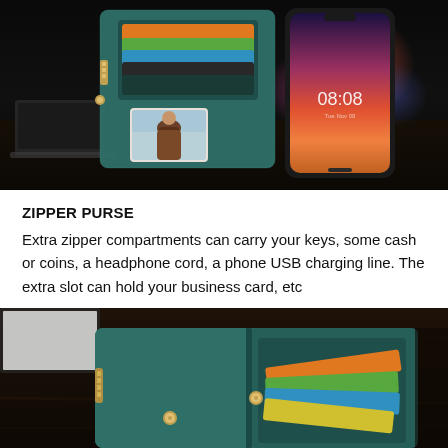[Figure (photo): Product photo of a teal/green leather wallet phone case open to show card slots with colorful cards (orange, green, blue, black), a photo ID window with a person in it, and a Huawei smartphone showing time 08:08, on a dark wooden surface.]
ZIPPER PURSE
Extra zipper compartments can carry your keys, some cash or coins, a headphone cord, a phone USB charging line. The extra slot can hold your business card, etc
[Figure (photo): Product photo of a teal/green leather wallet case open on a dark wooden surface, showing multiple colorful cards (orange, green, blue, yellow) fanning out, with a zipper compartment and snap button visible.]